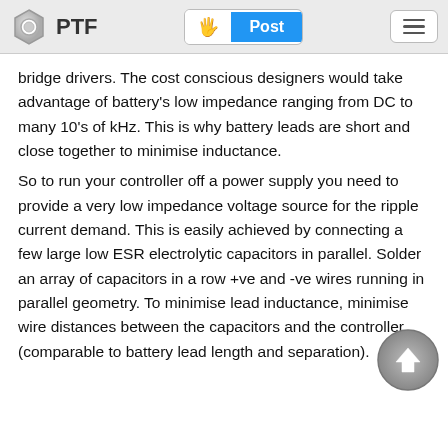PTF | Post
bridge drivers. The cost conscious designers would take advantage of battery's low impedance ranging from DC to many 10's of kHz. This is why battery leads are short and close together to minimise inductance.
So to run your controller off a power supply you need to provide a very low impedance voltage source for the ripple current demand. This is easily achieved by connecting a few large low ESR electrolytic capacitors in parallel. Solder an array of capacitors in a row +ve and -ve wires running in parallel geometry. To minimise lead inductance, minimise wire distances between the capacitors and the controller (comparable to battery lead length and separation).
[Figure (illustration): Scroll-to-top circular arrow button overlay at bottom right]